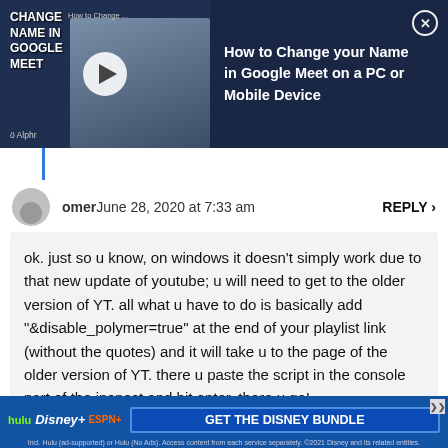[Figure (screenshot): Video thumbnail and info panel for 'How to Change your Name in Google Meet on a PC or Mobile Device' from Alphr, with play button overlay and dark blue background]
omer June 28, 2020 at 7:33 am
REPLY >
ok. just so u know, on windows it doesn't simply work due to that new update of youtube; u will need to get to the older version of YT. all what u have to do is basically add "&disable_polymer=true" at the end of your playlist link (without the quotes) and it will take u to the page of the older version of YT. there u paste the script in the console part of the inspect and hit enter. there u go!
[Figure (screenshot): Advertisement banner for Disney Bundle featuring Hulu, Disney+, and ESPN+ logos with 'GET THE DISNEY BUNDLE' call to action]